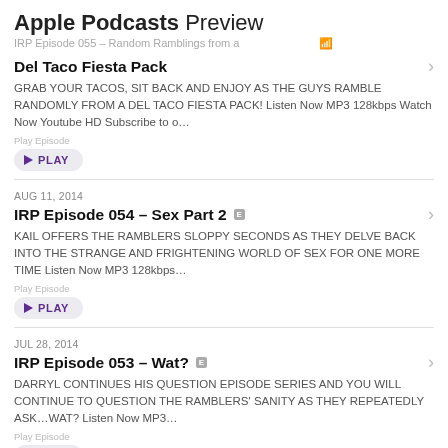Apple Podcasts Preview
IRP Episode 055 – Random Ramblings from a
Del Taco Fiesta Pack
GRAB YOUR TACOS, SIT BACK AND ENJOY AS THE GUYS RAMBLE RANDOMLY FROM A DEL TACO FIESTA PACK! Listen Now MP3 128kbps Watch Now Youtube HD Subscribe to o...
PLAY
AUG 11, 2014
IRP Episode 054 – Sex Part 2
KAIL OFFERS THE RAMBLERS SLOPPY SECONDS AS THEY DELVE BACK INTO THE STRANGE AND FRIGHTENING WORLD OF SEX FOR ONE MORE TIME Listen Now MP3 128kbps...
PLAY
JUL 28, 2014
IRP Episode 053 – Wat?
DARRYL CONTINUES HIS QUESTION EPISODE SERIES AND YOU WILL CONTINUE TO QUESTION THE RAMBLERS' SANITY AS THEY REPEATEDLY ASK...WAT? Listen Now MP3...
PLAY